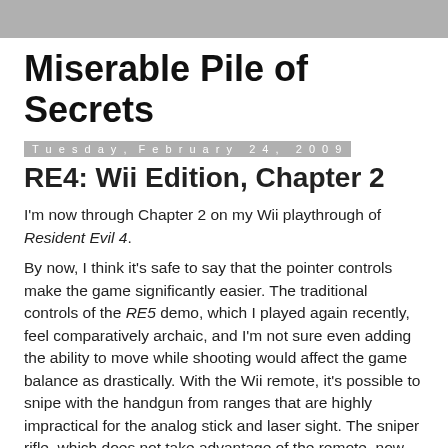Miserable Pile of Secrets
Tuesday, February 24, 2009
RE4: Wii Edition, Chapter 2
I'm now through Chapter 2 on my Wii playthrough of Resident Evil 4.
By now, I think it's safe to say that the pointer controls make the game significantly easier. The traditional controls of the RE5 demo, which I played again recently, feel comparatively archaic, and I'm not sure even adding the ability to move while shooting would affect the game balance as drastically. With the Wii remote, it's possible to snipe with the handgun from ranges that are highly impractical for the analog stick and laser sight. The sniper rifle, which does not take advantage of the remote, now feels unintuitive and inaccurate by comparison. Frankly, the new controls probably make the game too easy. RE4 obviously wasn't